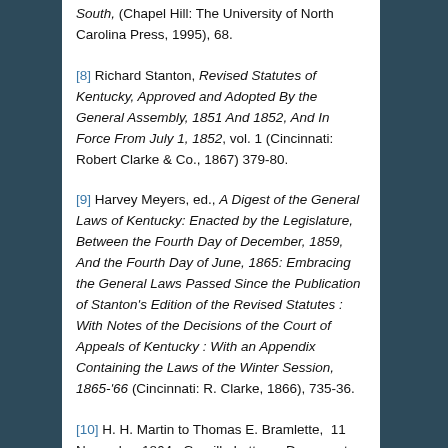South, (Chapel Hill: The University of North Carolina Press, 1995), 68.
[8] Richard Stanton, Revised Statutes of Kentucky, Approved and Adopted By the General Assembly, 1851 And 1852, And In Force From July 1, 1852, vol. 1 (Cincinnati: Robert Clarke & Co., 1867) 379-80.
[9] Harvey Meyers, ed., A Digest of the General Laws of Kentucky: Enacted by the Legislature, Between the Fourth Day of December, 1859, And the Fourth Day of June, 1865: Embracing the General Laws Passed Since the Publication of Stanton's Edition of the Revised Statutes : With Notes of the Decisions of the Court of Appeals of Kentucky : With an Appendix Containing the Laws of the Winter Session, 1865-'66 (Cincinnati: R. Clarke, 1866), 735-36.
[10] H. H. Martin to Thomas E. Bramlette,  11 November 1864,  Guerilla Letters,  Document Box 1, Folder G. L. 1864,  Kentucky Department of Military Affairs,  Frankfort, KY.  Accessed via the Civil War Governors of Kentucky